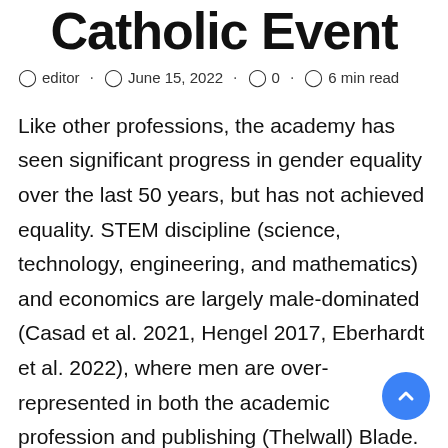Catholic Event
editor · June 15, 2022 · 0 · 6 min read
Like other professions, the academy has seen significant progress in gender equality over the last 50 years, but has not achieved equality. STEM discipline (science, technology, engineering, and mathematics) and economics are largely male-dominated (Casad et al. 2021, Hengel 2017, Eberhardt et al. 2022), where men are over-represented in both the academic profession and publishing (Thelwall) Blade. 2020). Unusually,